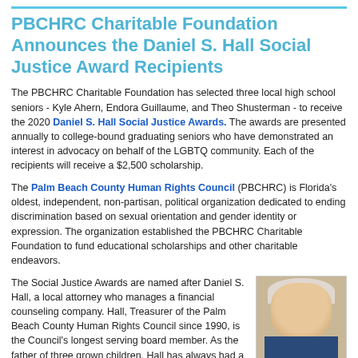PBCHRC Charitable Foundation Announces the Daniel S. Hall Social Justice Award Recipients
The PBCHRC Charitable Foundation has selected three local high school seniors - Kyle Ahern, Endora Guillaume, and Theo Shusterman - to receive the 2020 Daniel S. Hall Social Justice Awards. The awards are presented annually to college-bound graduating seniors who have demonstrated an interest in advocacy on behalf of the LGBTQ community. Each of the recipients will receive a $2,500 scholarship.
The Palm Beach County Human Rights Council (PBCHRC) is Florida's oldest, independent, non-partisan, political organization dedicated to ending discrimination based on sexual orientation and gender identity or expression. The organization established the PBCHRC Charitable Foundation to fund educational scholarships and other charitable endeavors.
The Social Justice Awards are named after Daniel S. Hall, a local attorney who manages a financial counseling company. Hall, Treasurer of the Palm Beach County Human Rights Council since 1990, is the Council's longest serving board member. As the father of three grown children, Hall has always had a
[Figure (photo): Headshot photo of Daniel S. Hall, an older man with white/grey hair, smiling, wearing a dark suit jacket]